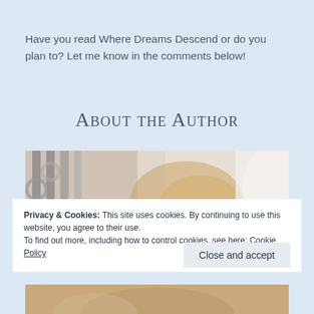Have you read Where Dreams Descend or do you plan to? Let me know in the comments below!
About the Author
[Figure (photo): Photo of author with blurred decorative iron railing and light background, blonde hair visible]
Privacy & Cookies: This site uses cookies. By continuing to use this website, you agree to their use.
To find out more, including how to control cookies, see here: Cookie Policy
Close and accept
[Figure (photo): Partial photo of author at bottom of page]